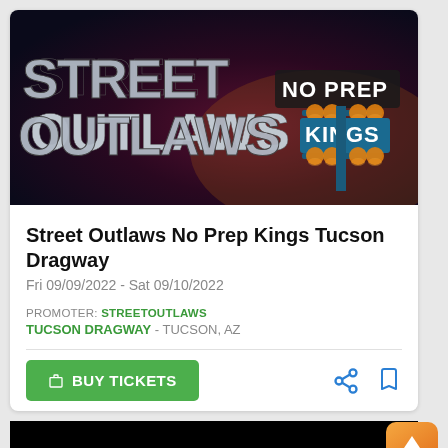[Figure (photo): Street Outlaws No Prep Kings promotional banner image with large metallic text 'STREET OUTLAWS' and 'NO PREP KINGS' on a dark dramatic background with glowing race light tree]
Street Outlaws No Prep Kings Tucson Dragway
Fri 09/09/2022 - Sat 09/10/2022
PROMOTER: STREETOUTLAWS
TUCSON DRAGWAY - TUCSON, AZ
BUY TICKETS
[Figure (photo): Bottom partial image showing black background, partially visible]